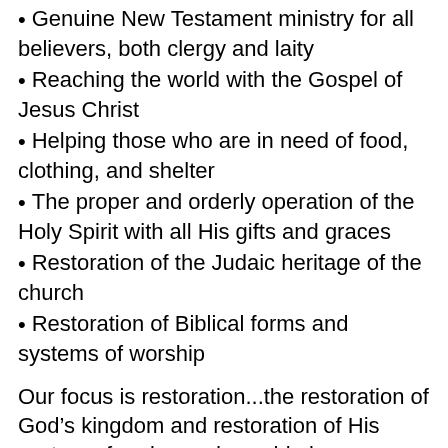Genuine New Testament ministry for all believers, both clergy and laity
Reaching the world with the Gospel of Jesus Christ
Helping those who are in need of food, clothing, and shelter
The proper and orderly operation of the Holy Spirit with all His gifts and graces
Restoration of the Judaic heritage of the church
Restoration of Biblical forms and systems of worship
Our focus is restoration...the restoration of God’s kingdom and restoration of His system of praise and worship in preparation for Jesus’ return.
We exist to be a home for spiritually hungry and it and